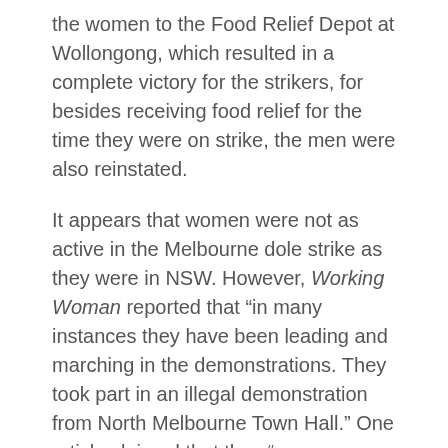the women to the Food Relief Depot at Wollongong, which resulted in a complete victory for the strikers, for besides receiving food relief for the time they were on strike, the men were also reinstated.
It appears that women were not as active in the Melbourne dole strike as they were in NSW. However, Working Woman reported that “in many instances they have been leading and marching in the demonstrations. They took part in an illegal demonstration from North Melbourne Town Hall.” One article claimed that they “were clamouring for a share in the work. One hundred of them marched to a charity organisation and demanded relief.” However, they did not